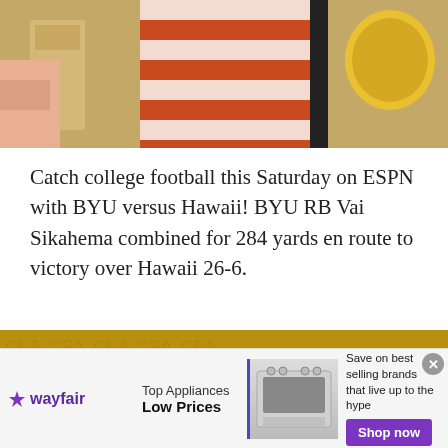[Figure (photo): Top portion of a video screenshot showing colorful objects including what appears to be striped fabric and a round orange object on the right]
Catch college football this Saturday on ESPN with BYU versus Hawaii! BYU RB Vai Sikahema combined for 284 yards en route to victory over Hawaii 26-6.
[Figure (screenshot): Screenshot of ESPN CFA broadcast showing ESPN logo on left and large CFA letters, with BYU vs HAWAII text overlay at bottom center on a gold CFA-branded background]
[Figure (photo): Wayfair advertisement banner: Top Appliances Low Prices, Save on best selling brands that live up to the hype, Shop now button]